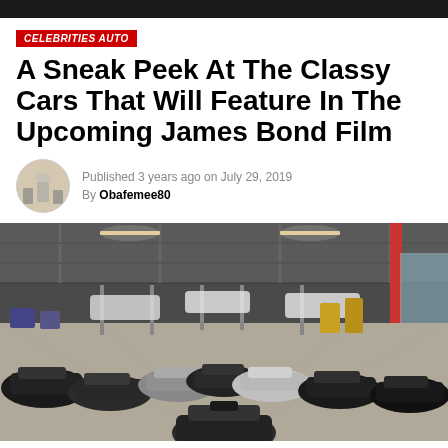CELEBRITIES AUTO
A Sneak Peek At The Classy Cars That Will Feature In The Upcoming James Bond Film
Published 3 years ago on July 29, 2019
By Obafemee80
[Figure (photo): Wide-angle overhead view of a large warehouse or film studio garage containing numerous classic Aston Martin and other cars arranged in a semicircle on the floor, with car lifts and equipment visible in the background.]